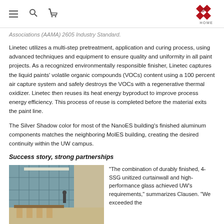HOME
Associations (AAMA) 2605 Industry Standard.
Linetec utilizes a multi-step pretreatment, application and curing process, using advanced techniques and equipment to ensure quality and uniformity in all paint projects. As a recognized environmentally responsible finisher, Linetec captures the liquid paints' volatile organic compounds (VOCs) content using a 100 percent air capture system and safely destroys the VOCs with a regenerative thermal oxidizer. Linetec then reuses its heat energy byproduct to improve process energy efficiency. This process of reuse is completed before the material exits the paint line.
The Silver Shadow color for most of the NanoES building's finished aluminum components matches the neighboring MolES building, creating the desired continuity within the UW campus.
Success story, strong partnerships
[Figure (photo): Interior of NanoES building showing curtainwall glazing, open space with table and chairs, and a person walking in the background]
"The combination of durably finished, 4-SSG unitized curtainwall and high-performance glass achieved UW's requirements," summarizes Clausen. "We exceeded the